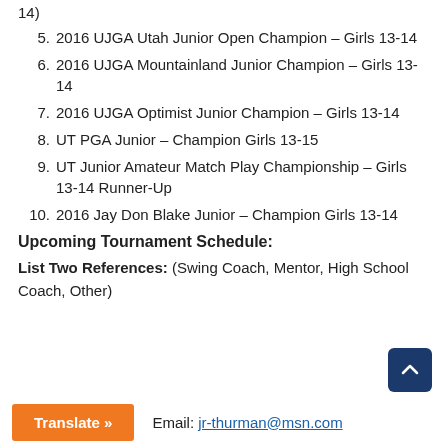14)
5. 2016 UJGA Utah Junior Open Champion – Girls 13-14
6. 2016 UJGA Mountainland Junior Champion – Girls 13-14
7. 2016 UJGA Optimist Junior Champion – Girls 13-14
8. UT PGA Junior – Champion Girls 13-15
9. UT Junior Amateur Match Play Championship – Girls 13-14 Runner-Up
10. 2016 Jay Don Blake Junior – Champion Girls 13-14
Upcoming Tournament Schedule:
List Two References:  (Swing Coach, Mentor, High School Coach, Other)
Email: jr-thurman@msn.com